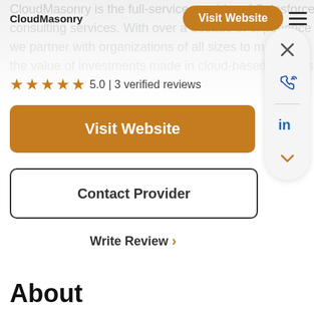CloudMasonry
CloudMasonry is the full-service provider of Salesforce consulting services. With over a decade of experience we partner with organizations of all sizes to maximize the value of investments made in cloud-based business
5.0 | 3 verified reviews
Visit Website
Contact Provider
Write Review >
About